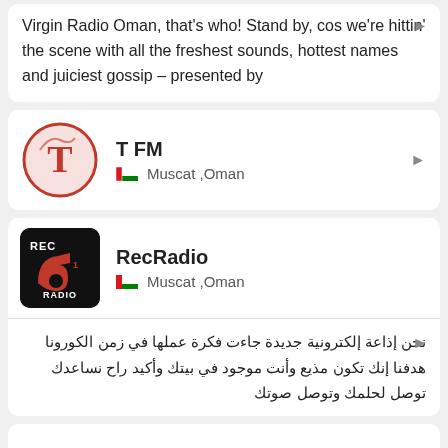Virgin Radio Oman, that's who! Stand by, cos we're hittin' the scene with all the freshest sounds, hottest names and juiciest gossip – presented by
T FM — Muscat, Oman
RecRadio — Muscat, Oman
نحن إذاعة إلكترونية جديدة جاءت فكرة عملها في زمن الكورونا هدفنا إنك تكون مذيع وأنت موجود في بيتك وأكيد راح نساعدك توصل لحلمك وتوصل صوتك
Radio Chaska — Muscat, Oman